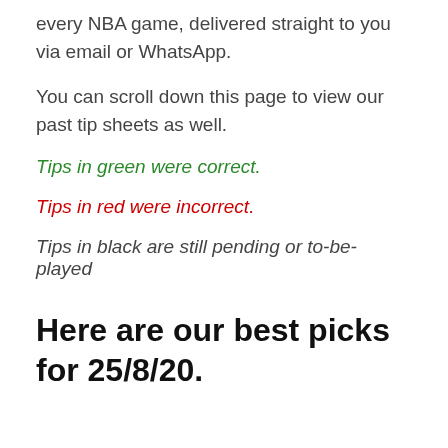every NBA game, delivered straight to you via email or WhatsApp.
You can scroll down this page to view our past tip sheets as well.
Tips in green were correct.
Tips in red were incorrect.
Tips in black are still pending or to-be-played
Here are our best picks for 25/8/20.